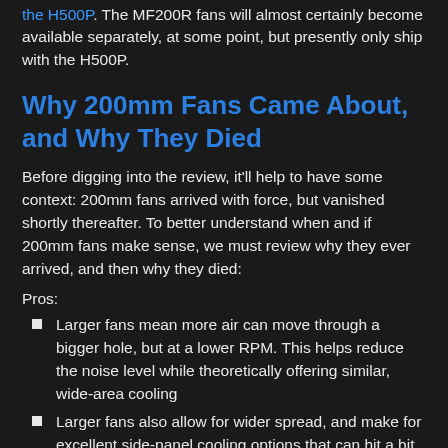the H500P. The MF200R fans will almost certainly become available separately, at some point, but presently only ship with the H500P.
Why 200mm Fans Came About, and Why They Died
Before digging into the review, it'll help to have some context: 200mm fans arrived with force, but vanished shortly thereafter. To better understand when and if 200mm fans make sense, we must review why they ever arrived, and then why they died:
Pros:
Larger fans mean more air can move through a bigger hole, but at a lower RPM. This helps reduce the noise level while theoretically offering similar, wide-area cooling
Larger fans also allow for wider spread, and make for excellent side-panel cooling options that can hit a bit of something – the VRM, the GPU, and the memory all